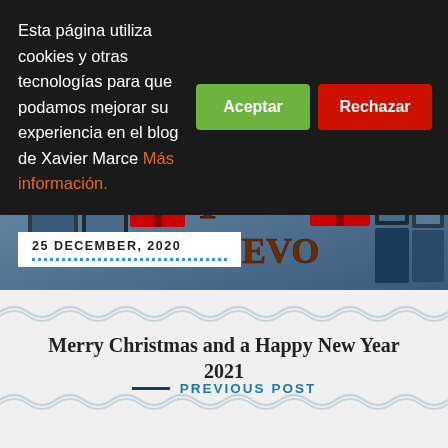Esta página utiliza cookies y otras tecnologías para que podamos mejorar su experiencia en el blog de Xavier Marce Más información.
Aceptar
Rechazar
[Figure (photo): Blog header image with Christmas gifts and book covers for Xavier Marce blog, overlaid text reading Y NUEVO 2021]
25 DECEMBER, 2020
Merry Christmas and a Happy New Year 2021
PREVIOUS POST